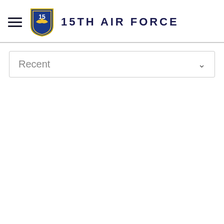[Figure (logo): 15th Air Force logo with shield emblem and text '15TH AIR FORCE' in navy blue uppercase letters]
Recent